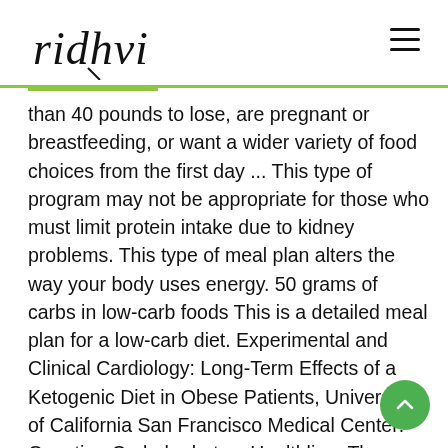ridhvi
than 40 pounds to lose, are pregnant or breastfeeding, or want a wider variety of food choices from the first day ... This type of program may not be appropriate for those who must limit protein intake due to kidney problems. This type of meal plan alters the way your body uses energy. 50 grams of carbs in low-carb foods This is a detailed meal plan for a low-carb diet. Experimental and Clinical Cardiology: Long-Term Effects of a Ketogenic Diet in Obese Patients, University of California San Francisco Medical Center: Counting Carbohydrates, Healthline: The Ketogenic Diet: A Detailed Beginner's Guide to Keto, PARTNER & LICENSEE OF THE LIVESTRONG FOUNDATION. Free Best 50 Grams Of Carbs A Day Diet Plan Easy